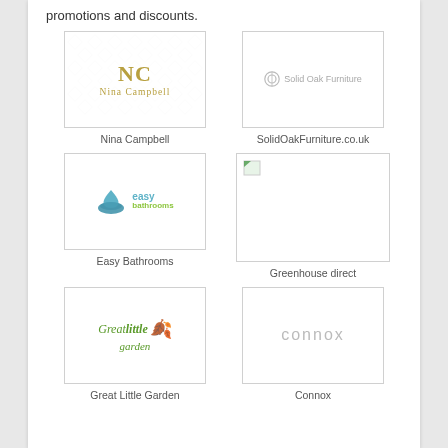promotions and discounts.
[Figure (logo): Nina Campbell logo - gold NC initials and name on diamond pattern background]
Nina Campbell
[Figure (logo): Solid Oak Furniture logo with icon and text]
SolidOakFurniture.co.uk
[Figure (logo): Easy Bathrooms logo with water drop icon and teal/green text]
Easy Bathrooms
[Figure (logo): Greenhouse direct logo - broken image placeholder]
Greenhouse direct
[Figure (logo): Great Little Garden logo with orange leaf and green text]
Great Little Garden
[Figure (logo): Connox logo in light grey sans-serif]
Connox